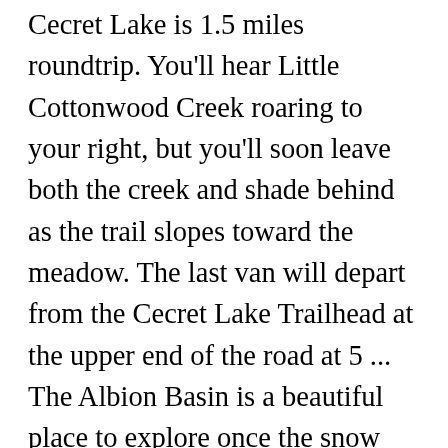Cecret Lake is 1.5 miles roundtrip. You'll hear Little Cottonwood Creek roaring to your right, but you'll soon leave both the creek and shade behind as the trail slopes toward the meadow. The last van will depart from the Cecret Lake Trailhead at the upper end of the road at 5 ... The Albion Basin is a beautiful place to explore once the snow melts. You can find the schedule on their Website for various hikes and activities. If you are riding during the peak wildflower season be sure to watch for the other hikers and bikers in the area who may not be looking for you. Located at an elevation of 9,500 feet just above Alta Ski Resort and Snowbird, the gate providing access is usually not even open until July..